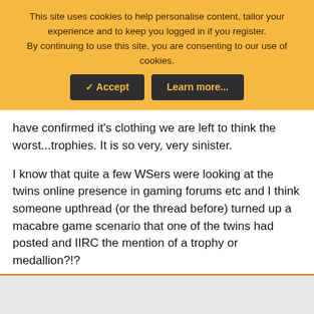This site uses cookies to help personalise content, tailor your experience and to keep you logged in if you register. By continuing to use this site, you are consenting to our use of cookies.
Accept | Learn more...
have confirmed it's clothing we are left to think the worst...trophies. It is so very, very sinister.
I know that quite a few WSers were looking at the twins online presence in gaming forums etc and I think someone upthread (or the thread before) turned up a macabre game scenario that one of the twins had posted and IIRC the mention of a trophy or medallion?!?